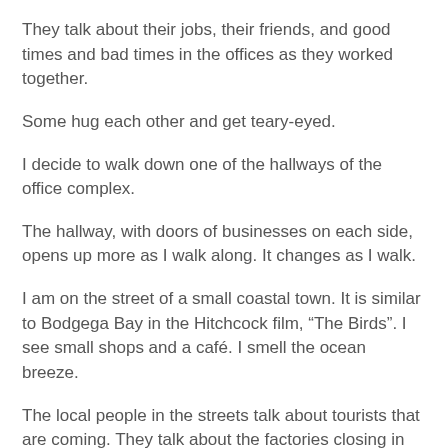They talk about their jobs, their friends, and good times and bad times in the offices as they worked together.
Some hug each other and get teary-eyed.
I decide to walk down one of the hallways of the office complex.
The hallway, with doors of businesses on each side, opens up more as I walk along. It changes as I walk.
I am on the street of a small coastal town. It is similar to Bodgega Bay in the Hitchcock film, “The Birds”. I see small shops and a café. I smell the ocean breeze.
The local people in the streets talk about tourists that are coming. They talk about the factories closing in the town and the new shops and businesses that are opening to appeal to the tourists.
I see a small shop up ahead, a large wooden sign showing a